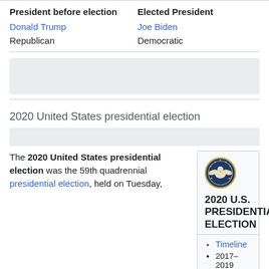| President before election | Elected President |
| --- | --- |
| Donald Trump | Joe Biden |
| Republican | Democratic |
2020 United States presidential election
The 2020 United States presidential election was the 59th quadrennial presidential election, held on Tuesday,
[Figure (infographic): 2020 U.S. Presidential Election infobox with Presidential Seal, title '2020 U.S. PRESIDENTIAL ELECTION', bullet: Timeline, sub-bullets: 2017–2019, January–October 2020]
Timeline
2017–2019
January–October 2020